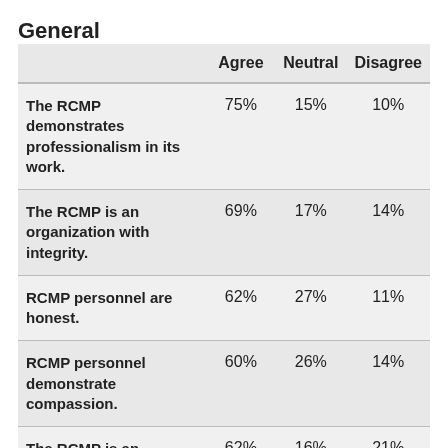General
|  | Agree | Neutral | Disagree |
| --- | --- | --- | --- |
| The RCMP demonstrates professionalism in its work. | 75% | 15% | 10% |
| The RCMP is an organization with integrity. | 69% | 17% | 14% |
| RCMP personnel are honest. | 62% | 27% | 11% |
| RCMP personnel demonstrate compassion. | 60% | 26% | 14% |
| The RCMP is an… | 62% | 16% | 21% |